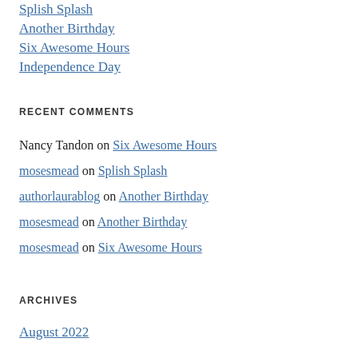Splish Splash
Another Birthday
Six Awesome Hours
Independence Day
RECENT COMMENTS
Nancy Tandon on Six Awesome Hours
mosesmead on Splish Splash
authorlaurablog on Another Birthday
mosesmead on Another Birthday
mosesmead on Six Awesome Hours
ARCHIVES
August 2022